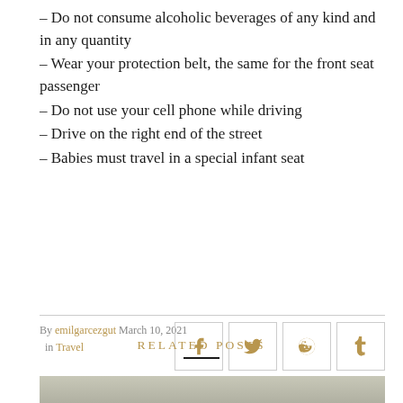– Do not consume alcoholic beverages of any kind and in any quantity
– Wear your protection belt, the same for the front seat passenger
– Do not use your cell phone while driving
– Drive on the right end of the street
– Babies must travel in a special infant seat
By emilgarcezgut March 10, 2021 in Travel
RELATED POSTS
[Figure (photo): Partial view of a cloudy sky photo at the bottom of the page]